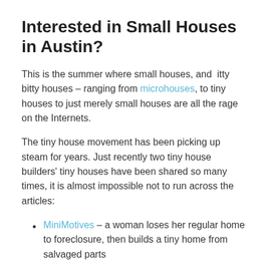Interested in Small Houses in Austin?
This is the summer where small houses, and  itty bitty houses – ranging from microhouses, to tiny houses to just merely small houses are all the rage on the Internets.
The tiny house movement has been picking up steam for years. Just recently two tiny house builders' tiny houses have been shared so many times, it is almost impossible not to run across the articles:
MiniMotives – a woman loses her regular home to foreclosure, then builds a tiny home from salvaged parts